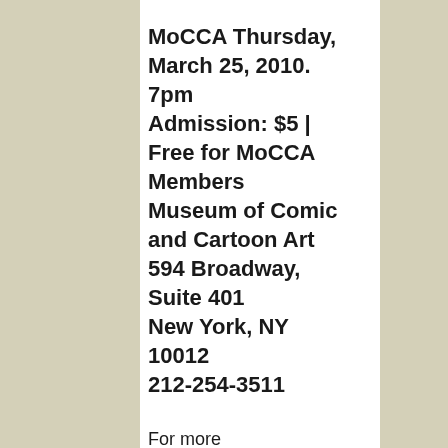MoCCA Thursday, March 25, 2010. 7pm Admission: $5 | Free for MoCCA Members Museum of Comic and Cartoon Art 594 Broadway, Suite 401 New York, NY 10012 212-254-3511
For more